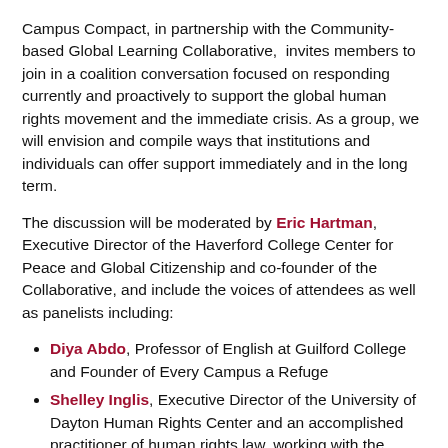Campus Compact, in partnership with the Community-based Global Learning Collaborative, invites members to join in a coalition conversation focused on responding currently and proactively to support the global human rights movement and the immediate crisis. As a group, we will envision and compile ways that institutions and individuals can offer support immediately and in the long term.
The discussion will be moderated by Eric Hartman, Executive Director of the Haverford College Center for Peace and Global Citizenship and co-founder of the Collaborative, and include the voices of attendees as well as panelists including:
Diya Abdo, Professor of English at Guilford College and Founder of Every Campus a Refuge
Shelley Inglis, Executive Director of the University of Dayton Human Rights Center and an accomplished practitioner of human rights law, working with the United Nations in the Balkans, Turkey, Croatia, and Bosnia and Herzegovina
Michael Shipler, Vice President, Strategy and Program